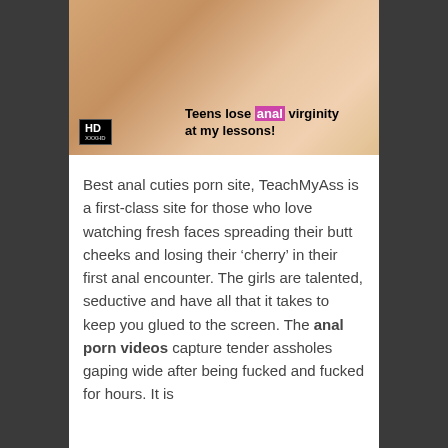[Figure (photo): Thumbnail image for adult website TeachMyAss with HD badge and overlay text reading 'Teens lose anal virginity at my lessons!']
Best anal cuties porn site, TeachMyAss is a first-class site for those who love watching fresh faces spreading their butt cheeks and losing their ‘cherry’ in their first anal encounter. The girls are talented, seductive and have all that it takes to keep you glued to the screen. The anal porn videos capture tender assholes gaping wide after being fucked and fucked for hours. It is